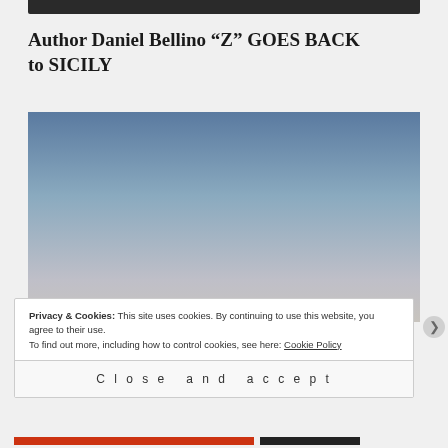[Figure (other): Dark navigation bar at the top of a webpage]
Author Daniel Bellino “Z” GOES BACK to SICILY
[Figure (photo): Photograph showing a sky gradient from dark blue at the top to light grey/white at the bottom]
Privacy & Cookies: This site uses cookies. By continuing to use this website, you agree to their use.
To find out more, including how to control cookies, see here: Cookie Policy
Close and accept